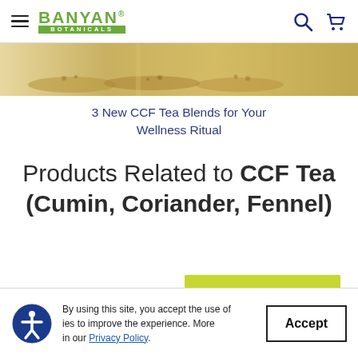[Figure (logo): Banyan Botanicals logo with hamburger menu and navigation icons]
[Figure (photo): Hero image strip showing spices and herbs (cumin, coriander, fennel) on wooden spoons]
3 New CCF Tea Blends for Your Wellness Ritual
Products Related to CCF Tea (Cumin, Coriander, Fennel)
[Figure (photo): Partial product image showing green/lime colored Banyan Botanicals tea box]
By using this site, you accept the use of cookies to improve the experience. More in our Privacy Policy.